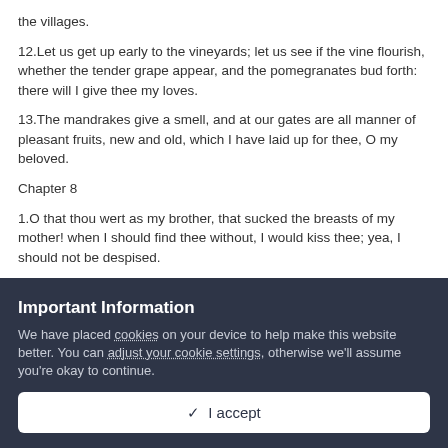the villages.
12.Let us get up early to the vineyards; let us see if the vine flourish, whether the tender grape appear, and the pomegranates bud forth: there will I give thee my loves.
13.The mandrakes give a smell, and at our gates are all manner of pleasant fruits, new and old, which I have laid up for thee, O my beloved.
Chapter 8
1.O that thou wert as my brother, that sucked the breasts of my mother! when I should find thee without, I would kiss thee; yea, I should not be despised.
Important Information
We have placed cookies on your device to help make this website better. You can adjust your cookie settings, otherwise we'll assume you're okay to continue.
✓  I accept